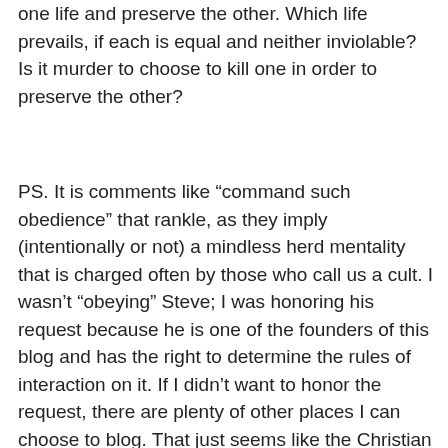one life and preserve the other. Which life prevails, if each is equal and neither inviolable? Is it murder to choose to kill one in order to preserve the other?
PS. It is comments like “command such obedience” that rankle, as they imply (intentionally or not) a mindless herd mentality that is charged often by those who call us a cult. I wasn’t “obeying” Steve; I was honoring his request because he is one of the founders of this blog and has the right to determine the rules of interaction on it. If I didn’t want to honor the request, there are plenty of other places I can choose to blog. That just seems like the Christian thing to do.